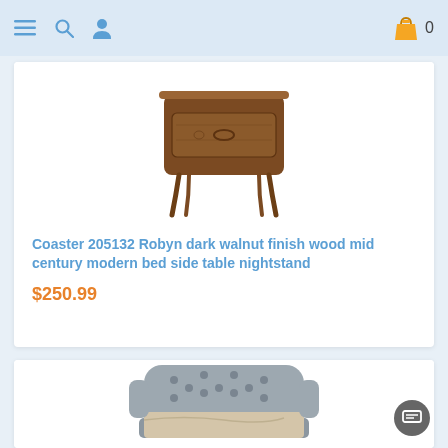Navigation bar with menu, search, user icons and shopping cart (0 items)
[Figure (photo): Coaster 205132 Robyn dark walnut finish wood mid century modern nightstand with drawer and angled legs]
Coaster 205132 Robyn dark walnut finish wood mid century modern bed side table nightstand
$250.99
[Figure (photo): Gray tufted upholstered bed with wingback headboard and silver/champagne bedding]